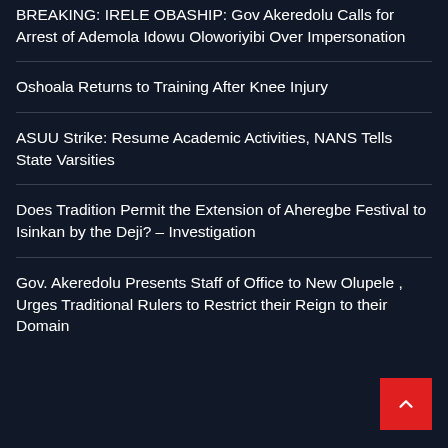BREAKING: IRELE OBASHIP: Gov Akeredolu Calls for Arrest of Ademola Idowu Oloworiyibi Over Impersonation
Oshoala Returns to Training After Knee Injury
ASUU Strike: Resume Academic Activities, NANS Tells State Varsities
Does Tradition Permit the Extension of Aheregbe Festival to Isinkan by the Deji? – Investigation
Gov. Akeredolu Presents Staff of Office to New Olupele , Urges Traditional Rulers to Restrict their Reign to their Domain